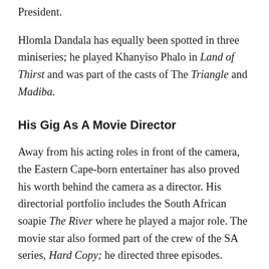President.
Hlomla Dandala has equally been spotted in three miniseries; he played Khanyiso Phalo in Land of Thirst and was part of the casts of The Triangle and Madiba.
His Gig As A Movie Director
Away from his acting roles in front of the camera, the Eastern Cape-born entertainer has also proved his worth behind the camera as a director. His directorial portfolio includes the South African soapie The River where he played a major role. The movie star also formed part of the crew of the SA series, Hard Copy; he directed three episodes.